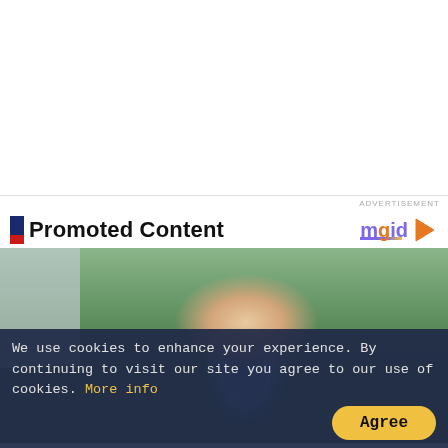[Figure (other): White blank area at top of page]
ADVERTISEMENT
[Figure (other): Promoted Content section header with mgid logo]
[Figure (photo): Photo of a young Asian woman with brown hair, smiling, wearing a blue sleeveless top and necklace, outdoors with green trees and a building in the background]
We use cookies to enhance your experience. By continuing to visit our site you agree to our use of cookies. More info
Agree